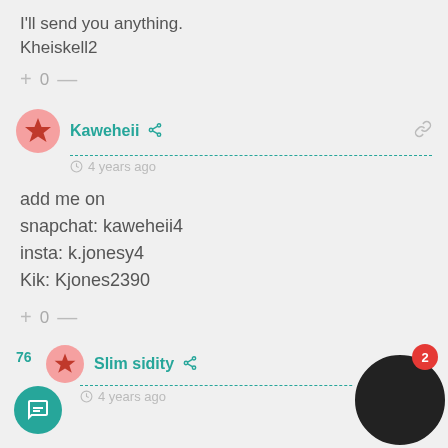I'll send you anything.
Kheiskell2
+ 0 —
Kaweheii
4 years ago
add me on
snapchat: kaweheii4
insta: k.jonesy4
Kik: Kjones2390
+ 0 —
Slim sidity
4 years ago